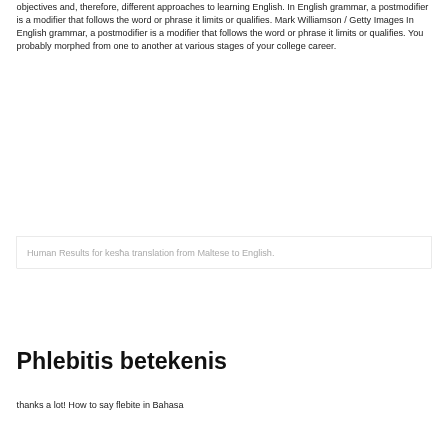objectives and, therefore, different approaches to learning English. In English grammar, a postmodifier is a modifier that follows the word or phrase it limits or qualifies. Mark Williamson / Getty Images In English grammar, a postmodifier is a modifier that follows the word or phrase it limits or qualifies. You probably morphed from one to another at various stages of your college career.
Human Results for kesħa translation from Maltese to English.
Phlebitis betekenis
thanks a lot! How to say flebite in Bahasa